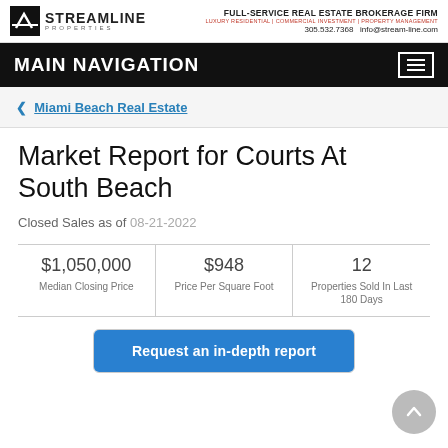STREAMLINE PROPERTIES | FULL-SERVICE REAL ESTATE BROKERAGE FIRM | LUXURY RESIDENTIAL | COMMERCIAL INVESTMENT | PROPERTY MANAGEMENT | 305.532.7368 | info@stream-line.com
MAIN NAVIGATION
Miami Beach Real Estate
Market Report for Courts At South Beach
Closed Sales as of 08-21-2022
| Median Closing Price | Price Per Square Foot | Properties Sold In Last 180 Days |
| --- | --- | --- |
| $1,050,000 | $948 | 12 |
Request an in-depth report